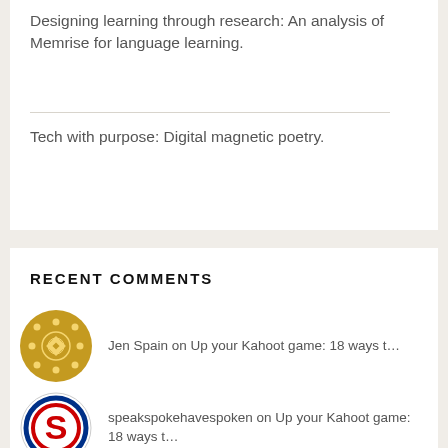Designing learning through research: An analysis of Memrise for language learning.
Tech with purpose: Digital magnetic poetry.
RECENT COMMENTS
Jen Spain on Up your Kahoot game: 18 ways t…
speakspokehavespoken on Up your Kahoot game: 18 ways t…